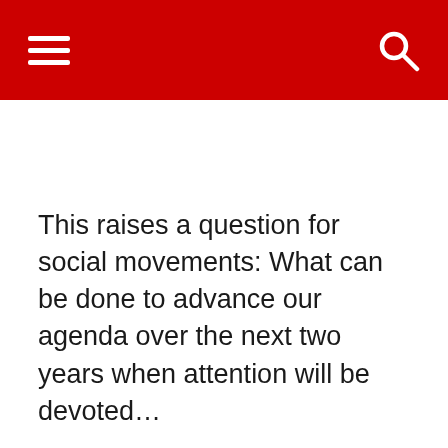This raises a question for social movements: What can be done to advance our agenda over the next two years when attention will be devoted…